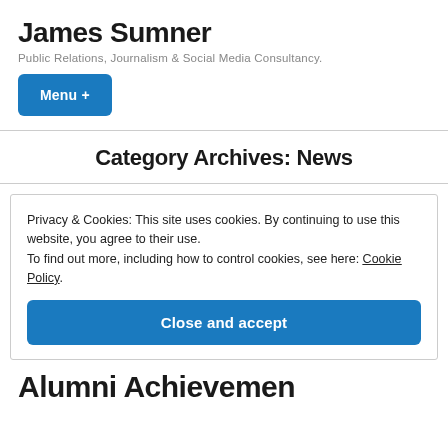James Sumner
Public Relations, Journalism & Social Media Consultancy.
Menu +
Category Archives: News
Privacy & Cookies: This site uses cookies. By continuing to use this website, you agree to their use.
To find out more, including how to control cookies, see here: Cookie Policy
Close and accept
Alumni Achievement